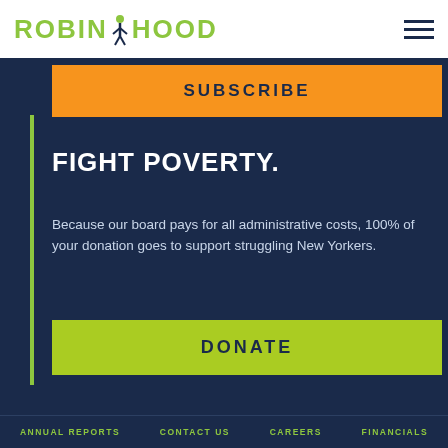ROBIN HOOD
SUBSCRIBE
FIGHT POVERTY.
Because our board pays for all administrative costs, 100% of your donation goes to support struggling New Yorkers.
DONATE
ANNUAL REPORTS   CONTACT US   CAREERS   FINANCIALS